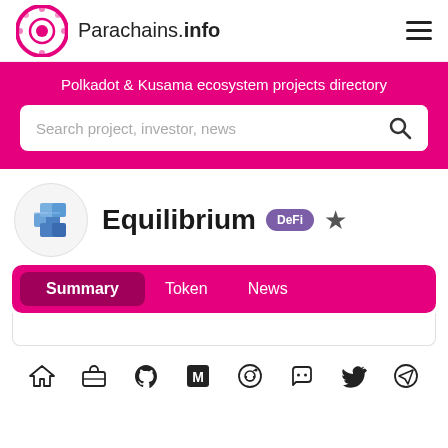Parachains.info
Polkadot & Kusama ecosystem projects directory
Search project, investor, news
Equilibrium DeFi
Summary  Token  News
[Figure (other): Social media icon links: home, briefcase, github, medium, reddit, discord, twitter, telegram]